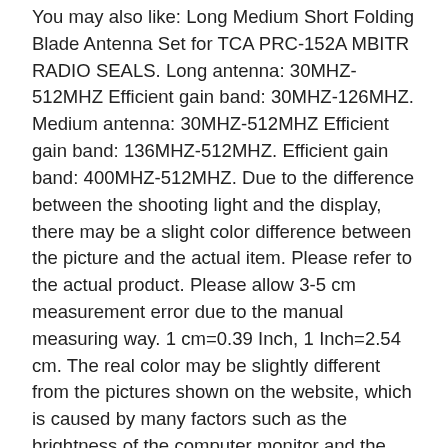You may also like: Long Medium Short Folding Blade Antenna Set for TCA PRC-152A MBITR RADIO SEALS. Long antenna: 30MHZ-512MHZ Efficient gain band: 30MHZ-126MHZ. Medium antenna: 30MHZ-512MHZ Efficient gain band: 136MHZ-512MHZ. Efficient gain band: 400MHZ-512MHZ. Due to the difference between the shooting light and the display, there may be a slight color difference between the picture and the actual item. Please refer to the actual product. Please allow 3-5 cm measurement error due to the manual measuring way. 1 cm=0.39 Inch, 1 Inch=2.54 cm. The real color may be slightly different from the pictures shown on the website, which is caused by many factors such as the brightness of the computer monitor and the mobile screen, the light brightness, etc. So, my friend, please wait your item patiently. This date is not guaranteed and will continue to be updated as your item travels to its destination. Item location is at China, and we do cross air express. Please see below table to find details service level. We are a professional worldwide wholesale company. High product quality, reasonable prices, excellent customer service and a reliable quality dise...